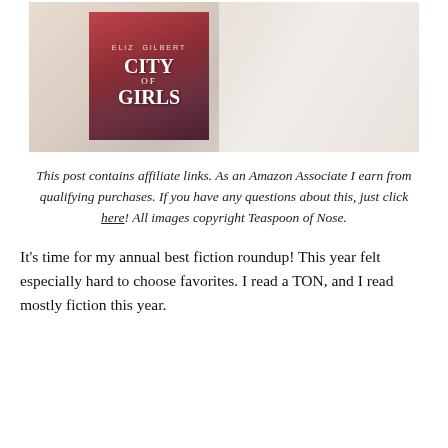[Figure (photo): A book titled 'City of Girls' by Elizabeth Gilbert resting on a fluffy white blanket. The book has a red/dark cover with white text.]
This post contains affiliate links. As an Amazon Associate I earn from qualifying purchases. If you have any questions about this, just click here! All images copyright Teaspoon of Nose.
It's time for my annual best fiction roundup! This year felt especially hard to choose favorites. I read a TON, and I read mostly fiction this year.